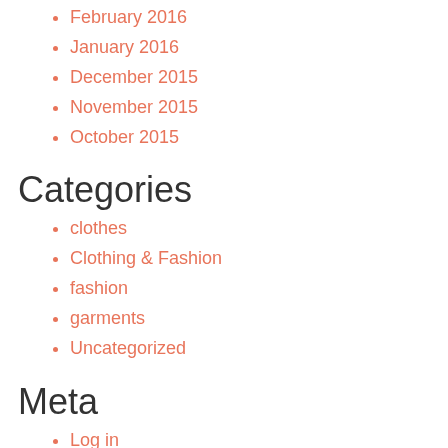February 2016
January 2016
December 2015
November 2015
October 2015
Categories
clothes
Clothing & Fashion
fashion
garments
Uncategorized
Meta
Log in
Entries RSS
Comments RSS
WordPress.org